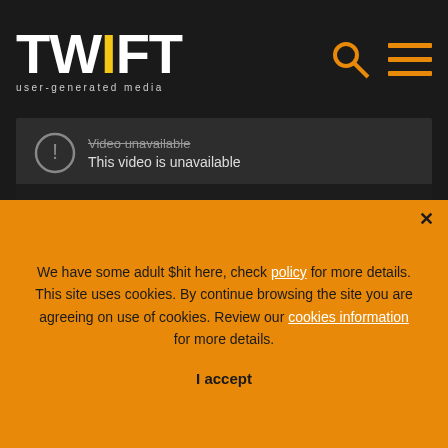TWIFT - user-generated media
[Figure (screenshot): Video player showing 'Video unavailable - This video is unavailable' message on dark background with YouTube button]
Kristaps plays a decent 22 minutes, showing record
We have some adult $hit here, check policy for more details. This site uses cookies. By continue browsing the site you are agreeing on use of cookies. Review our cookies information for more details. I accept